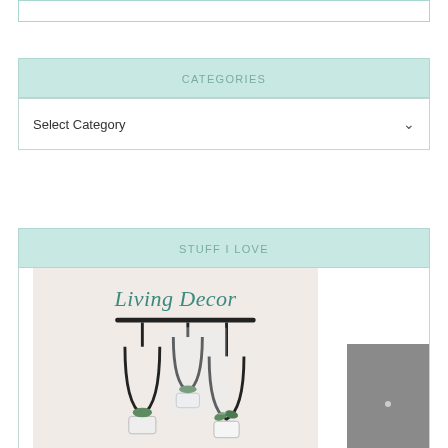CATEGORIES
Select Category
STUFF I LOVE
[Figure (photo): Living Decor promotional image showing hanging black metal arc planters with succulents and plants in white pots near a bright window, with books and decorative items below]